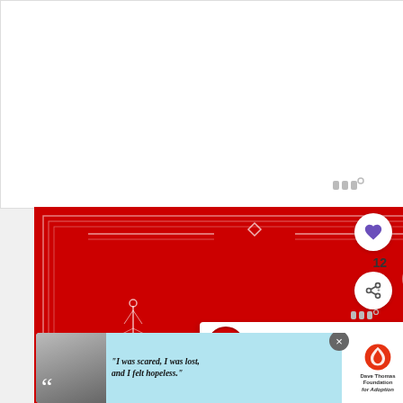[Figure (screenshot): Screenshot of a social media/blog post interface showing a red decorative card with 'MONTHLY GOALS 2017' text, like and share buttons, a 'What's Next' panel showing 'Setting Monthly Goa...', and an advertisement banner at the bottom for Dave Thomas Foundation for Adoption with quote text 'I was scared, I was lost, and I felt hopeless.']
WHAT'S NEXT → Setting Monthly Goa...
12
"I was scared, I was lost, and I felt hopeless." Dave Thomas Foundation for Adoption